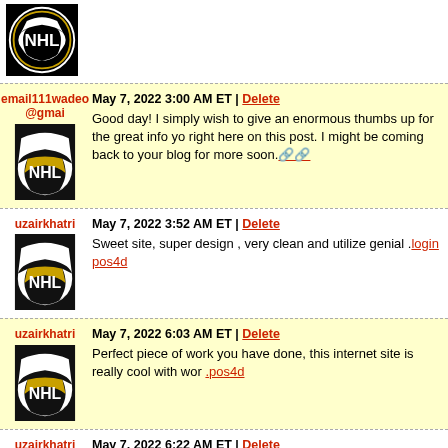[Figure (logo): NHL logo at top of page]
email111wadeo @gmai | May 7, 2022 3:00 AM ET | Delete
Good day! I simply wish to give an enormous thumbs up for the great info you right here on this post. I might be coming back to your blog for more soon.
uzairkhatri | May 7, 2022 3:52 AM ET | Delete
Sweet site, super design , very clean and utilize genial .login pos4d
uzairkhatri | May 7, 2022 6:03 AM ET | Delete
Perfect piece of work you have done, this internet site is really cool with wor .pos4d
uzairkhatri | May 7, 2022 6:22 AM ET | Delete